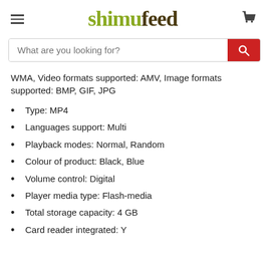shimufeed
WMA, Video formats supported: AMV, Image formats supported: BMP, GIF, JPG
Type: MP4
Languages support: Multi
Playback modes: Normal, Random
Colour of product: Black, Blue
Volume control: Digital
Player media type: Flash-media
Total storage capacity: 4 GB
Card reader integrated: Y